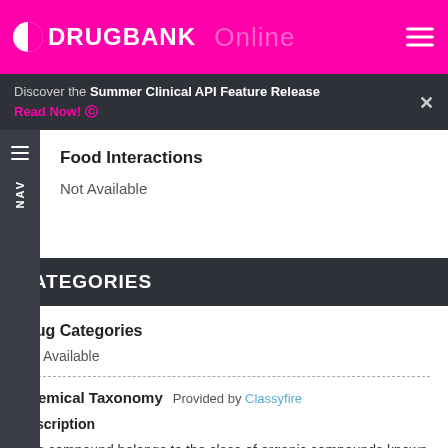DrugBank Online
Discover the Summer Clinical API Feature Release
Read Now!
Food Interactions
Not Available
CATEGORIES
Drug Categories
Not Available
Chemical Taxonomy  Provided by Classyfire
Description
This compound belongs to the class of organic compounds known as anthraquinones. These are